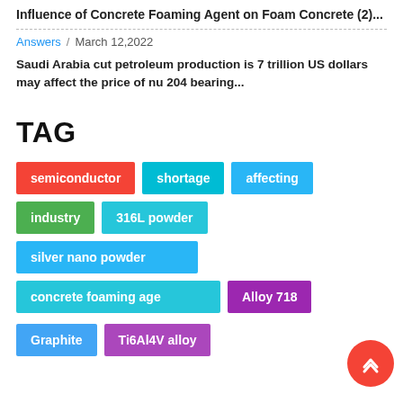Influence of Concrete Foaming Agent on Foam Concrete (2)...
Answers / March 12,2022
Saudi Arabia cut petroleum production is 7 trillion US dollars may affect the price of nu 204 bearing...
TAG
semiconductor
shortage
affecting
industry
316L powder
silver nano powder
concrete foaming age...
Alloy 718
Graphite
Ti6Al4V alloy